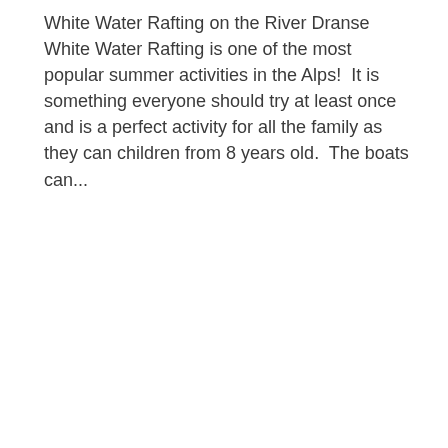White Water Rafting on the River Dranse White Water Rafting is one of the most popular summer activities in the Alps!  It is something everyone should try at least once and is a perfect activity for all the family as they can children from 8 years old.  The boats can...